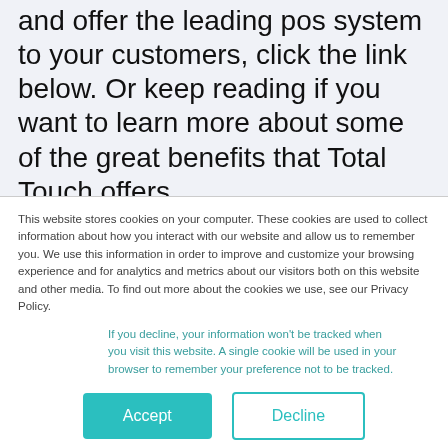and offer the leading pos system to your customers, click the link below. Or keep reading if you want to learn more about some of the great benefits that Total Touch offers.
This website stores cookies on your computer. These cookies are used to collect information about how you interact with our website and allow us to remember you. We use this information in order to improve and customize your browsing experience and for analytics and metrics about our visitors both on this website and other media. To find out more about the cookies we use, see our Privacy Policy.
If you decline, your information won't be tracked when you visit this website. A single cookie will be used in your browser to remember your preference not to be tracked.